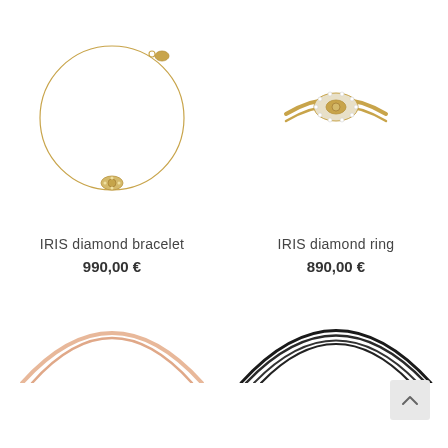[Figure (photo): Gold IRIS diamond bracelet - a delicate circular chain with an eye-shaped diamond charm and clasp, displayed in a loop/circle shape on white background]
[Figure (photo): Gold IRIS diamond ring - a thin gold band with an eye-shaped cluster of diamonds setting, displayed on white background]
IRIS diamond bracelet
990,00 €
IRIS diamond ring
890,00 €
[Figure (photo): Partial view of a rose gold/pink bangle or necklace - thin rose gold curved arcs visible from top, cropped at bottom of page]
[Figure (photo): Partial view of multiple black cord or thread necklaces/bracelets - black curved lines visible from top, cropped at bottom of page]